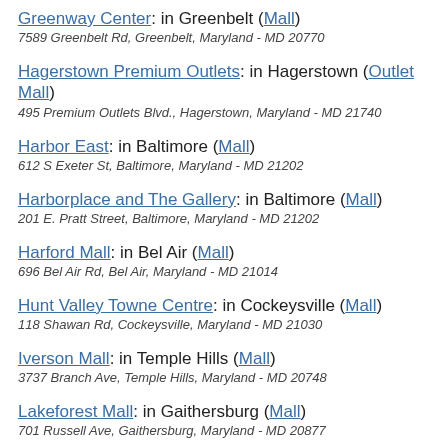Greenway Center: in Greenbelt (Mall)
7589 Greenbelt Rd, Greenbelt, Maryland - MD 20770
Hagerstown Premium Outlets: in Hagerstown (Outlet Mall)
495 Premium Outlets Blvd., Hagerstown, Maryland - MD 21740
Harbor East: in Baltimore (Mall)
612 S Exeter St, Baltimore, Maryland - MD 21202
Harborplace and The Gallery: in Baltimore (Mall)
201 E. Pratt Street, Baltimore, Maryland - MD 21202
Harford Mall: in Bel Air (Mall)
696 Bel Air Rd, Bel Air, Maryland - MD 21014
Hunt Valley Towne Centre: in Cockeysville (Mall)
118 Shawan Rd, Cockeysville, Maryland - MD 21030
Iverson Mall: in Temple Hills (Mall)
3737 Branch Ave, Temple Hills, Maryland - MD 20748
Lakeforest Mall: in Gaithersburg (Mall)
701 Russell Ave, Gaithersburg, Maryland - MD 20877
Laurel Commons: in Laurel (Mall)